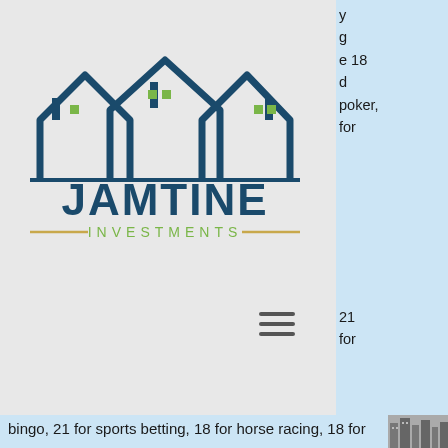[Figure (logo): Jamtine Investments logo with house rooftop silhouettes in dark teal/navy and green accent windows, company name 'JAMTINE' in large dark teal letters with 'INVESTMENTS' below in smaller spaced letters with decorative lines on either side]
e 18
d
poker,
for
21
for
bingo, 21 for sports betting, 18 for horse racing, 18 for the lottery. North Dakota Minimum gambling ages are 21 years old for casinos, 21 for poker, 18 for bingo, 18 for horse racing, 18 for the lottery. Ohio Minimum gambling ages are 21 years old for casinos, 21 for poker, 18 for bingo, 18 for horse racing, 18 for the lottery, hugo free rune slots.
BTC casino winners:
Divine Fortune - 463.6 ltc
Whale O'Winnings - 556.7 bch